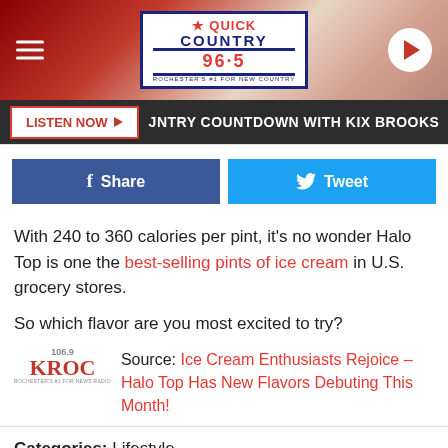[Figure (logo): Quick Country 96.5 radio station header banner with hamburger menu, logo, and play button]
LISTEN NOW | JNTRY COUNTDOWN WITH KIX BROOKS | AMERIC...
[Figure (other): Facebook Share button and Twitter Tweet button]
With 240 to 360 calories per pint, it's no wonder Halo Top is one the best-selling pints of ice cream in U.S. grocery stores.
So which flavor are you most excited to try?
Source: Ice Cream Enthusiasts Rejoice – Halo Top Has New Flavors Debuting This Month!
Categories: Lifestyle
Com...